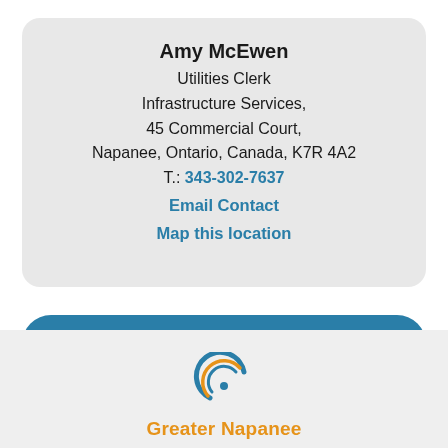Amy McEwen
Utilities Clerk
Infrastructure Services,
45 Commercial Court,
Napanee, Ontario, Canada, K7R 4A2
T.: 343-302-7637
Email Contact
Map this location
Subscribe to this Page
[Figure (logo): Greater Napanee logo with stylized circular icon in blue/teal and orange tones above the text 'Greater Napanee']